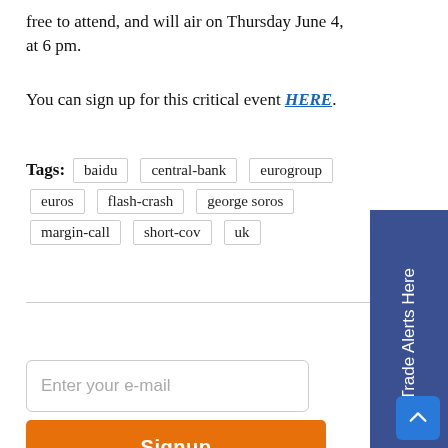free to attend, and will air on Thursday June 4, at 6 pm.
You can sign up for this critical event HERE.
Tags: baidu central-bank eurogroup euros flash-crash george soros margin-call short-cov uk
Enter your e-mail
Signup
Get Trade Alerts Here